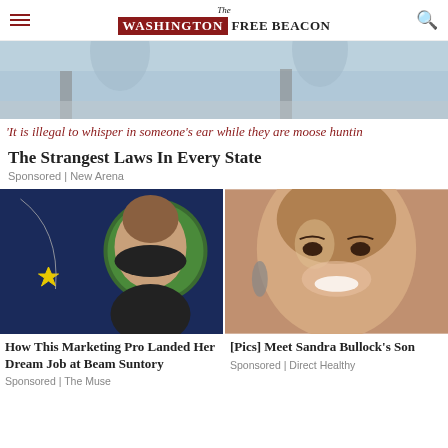The Washington Free Beacon
[Figure (photo): Hero image showing moose legs/antlers, grey and light blue tones]
'It is illegal to whisper in someone's ear while they are moose huntin
The Strangest Laws In Every State
Sponsored | New Arena
[Figure (photo): Marketing professional woman smiling, dark background with green floral circle and star decoration]
How This Marketing Pro Landed Her Dream Job at Beam Suntory
Sponsored | The Muse
[Figure (photo): Sandra Bullock smiling, close-up portrait]
[Pics] Meet Sandra Bullock's Son
Sponsored | Direct Healthy